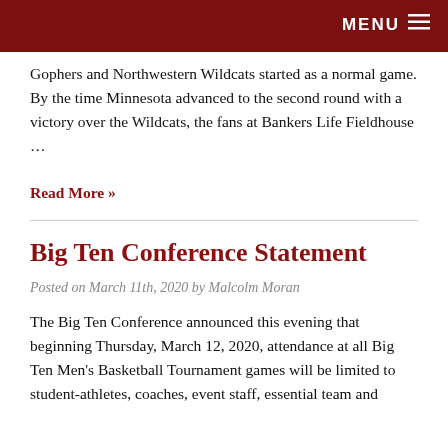MENU
Gophers and Northwestern Wildcats started as a normal game. By the time Minnesota advanced to the second round with a victory over the Wildcats, the fans at Bankers Life Fieldhouse …
Read More »
Big Ten Conference Statement
Posted on March 11th, 2020 by Malcolm Moran
The Big Ten Conference announced this evening that beginning Thursday, March 12, 2020, attendance at all Big Ten Men's Basketball Tournament games will be limited to student-athletes, coaches, event staff, essential team and